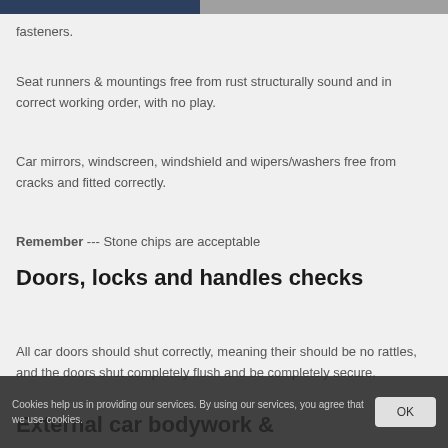fasteners.
Seat runners & mountings free from rust structurally sound and in correct working order, with no play.
Car mirrors, windscreen, windshield and wipers/washers free from cracks and fitted correctly.
Remember --- Stone chips are acceptable
Doors, locks and handles checks
All car doors should shut correctly, meaning their should be no rattles, and the doors shut completely flush and be completely secure.
Cookies help us in providing our services. By using our services, you agree that we use cookies.
External car bodywork &